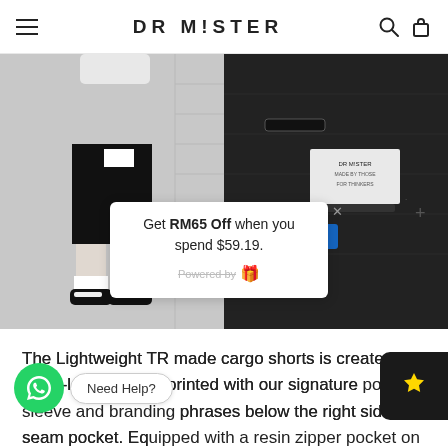DR MISTER
[Figure (photo): Product photo of black cargo shorts worn by a model, and a close-up of the shorts' label/pocket details on black fabric background.]
Get RM65 Off when you spend $59.19.
Powered by
The Lightweight TR made cargo shorts is created in Knee-length fit. It's printed with our signature pocket sleeve and branding phrases below the right side seam pocket. Equipped with a resin zipper pocket on bottom right,